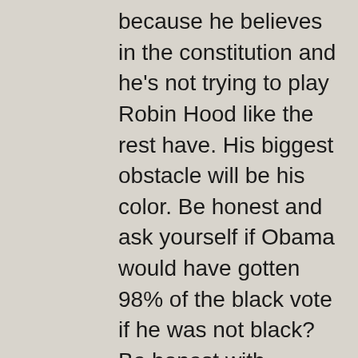because he believes in the constitution and he's not trying to play Robin Hood like the rest have. His biggest obstacle will be his color. Be honest and ask yourself if Obama would have gotten 98% of the black vote if he was not black? Be honest with yourself. Is that a reasonable reason to vote for someone? I want a president that cares about the well being of our country. I want to be proud of our country. Bush and Obama both have criminally stomped and ripped up our rights. Their toilet paper has the constitution and the bill of rights printed on it. WAKE UP FOLKS! It's probably too late to save our country but Ron Paul seems to be our best bet. I you don't